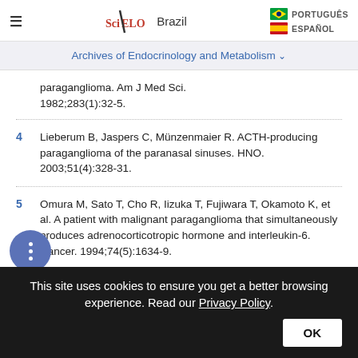SciELO Brazil — PORTUGUÊS | ESPAÑOL
Archives of Endocrinology and Metabolism
paraganglioma. Am J Med Sci. 1982;283(1):32-5.
4  Lieberum B, Jaspers C, Münzenmaier R. ACTH-producing paraganglioma of the paranasal sinuses. HNO. 2003;51(4):328-31.
5  Omura M, Sato T, Cho R, Iizuka T, Fujiwara T, Okamoto K, et al. A patient with malignant paraganglioma that simultaneously produces adrenocorticotropic hormone and interleukin-6. Cancer. 1994;74(5):1634-9.
This site uses cookies to ensure you get a better browsing experience. Read our Privacy Policy.